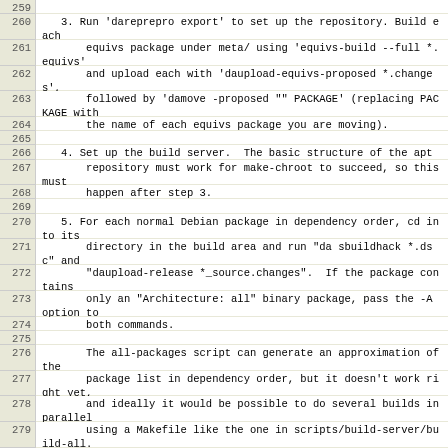Code listing lines 259-279 showing build/deployment instructions for Debian packages
259 (empty)
260    3. Run 'dareprepro export' to set up the repository. Build each
261        equivs package under meta/ using 'equivs-build --full *.equivs'
262        and upload each with 'daupload-equivs-proposed *.changes',
263        followed by 'damove -proposed "" PACKAGE' (replacing PACKAGE with
264        the name of each equivs package you are moving).
265 (empty)
266    4. Set up the build server.  The basic structure of the apt
267        repository must work for make-chroot to succeed, so this must
268        happen after step 3.
269 (empty)
270    5. For each normal Debian package in dependency order, cd into its
271        directory in the build area and run "da sbuildhack *.dsc" and
272        "daupload-release *_source.changes".  If the package contains
273        only an "Architecture: all" binary package, pass the -A option to
274        both commands.
275 (empty)
276        The all-packages script can generate an approximation of the
277        package list in dependency order, but it doesn't work right yet,
278        and ideally it would be possible to do several builds in parallel
279        using a Makefile like the one in scripts/build-server/build-all.